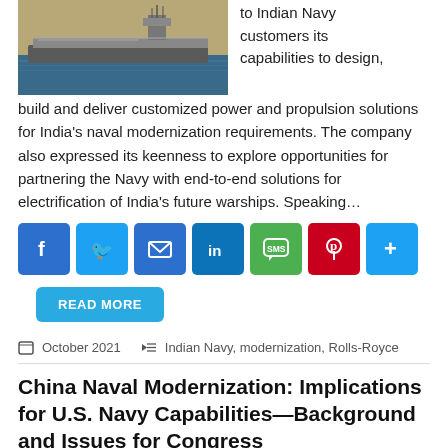[Figure (photo): Photograph of a naval aircraft carrier at sea with ocean water and sky visible]
to Indian Navy customers its capabilities to design, build and deliver customized power and propulsion solutions for India's naval modernization requirements. The company also expressed its keenness to explore opportunities for partnering the Navy with end-to-end solutions for electrification of India's future warships. Speaking…
[Figure (infographic): Social media share buttons: Facebook, Twitter, Email, LinkedIn, SMS, Pinterest, More]
READ MORE
October 2021   Indian Navy, modernization, Rolls-Royce
China Naval Modernization: Implications for U.S. Navy Capabilities—Background and Issues for Congress